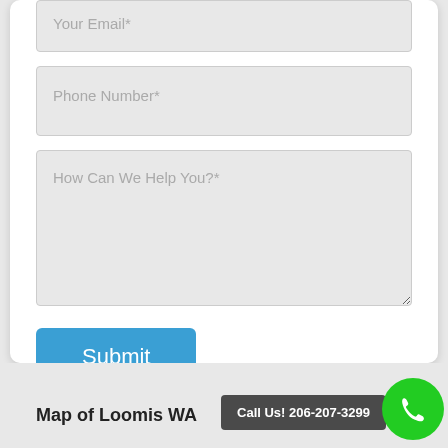Your Email*
Phone Number*
How Can We Help You?*
Submit
Call Us! 206-207-3299
Map of Loomis WA